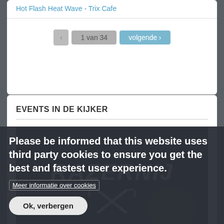Hot Flash Heat Wave - Trix Cafe
1 van 34
EVENTS IN DE KIJKER
[Figure (photo): Razernij band logo on black background - beer drinkers & hellraisers]
Please be informed that this website uses third party cookies to ensure you get the best and fastest user experience.
Meer informatie over cookies
Ok, verbergen